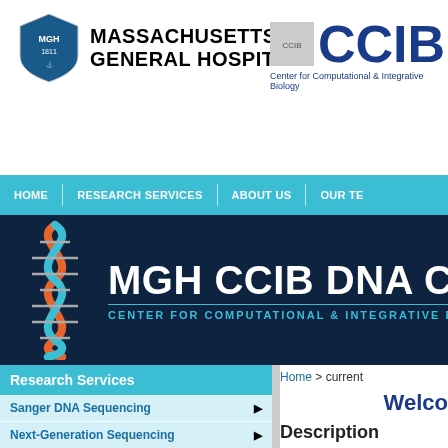[Figure (logo): Massachusetts General Hospital logo with MGH shield and text]
[Figure (logo): CCIB Center for Computational and Integrative Biology logo]
HOME | RESEARCH SERVICES | ABOUT US | OUR TE...
[Figure (logo): MGH CCIB DNA Core banner with DNA helix illustration and text: CENTER FOR COMPUTATIONAL & INTEGRATIVE BIOLOGY]
Research Services
Sanger DNA Sequencing
Next-Generation Sequencing
Genotyping
Laboratory Automation
Molecular Biology
Home > current
Welco...
Description
Founded in 1995, the MGH D... core laboratory within the Ce... Hospital Boston. Our state-o... (molecular biology, genomics... methodologies and expertise...